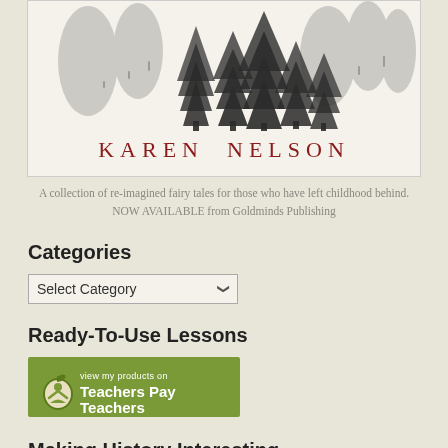[Figure (illustration): Book cover illustration showing a forest of pine/fir trees in black and white sketch style, with author name KAREN NELSON in dark red capital letters below the trees]
A collection of re-imagined fairy tales for those who have left childhood behind. NOW AVAILABLE from Goldminds Publishing
Categories
Select Category (dropdown)
Ready-To-Use Lessons
[Figure (logo): Teachers Pay Teachers green banner logo with apple icon and text 'view my products on Teachers Pay Teachers']
Making History Interesting